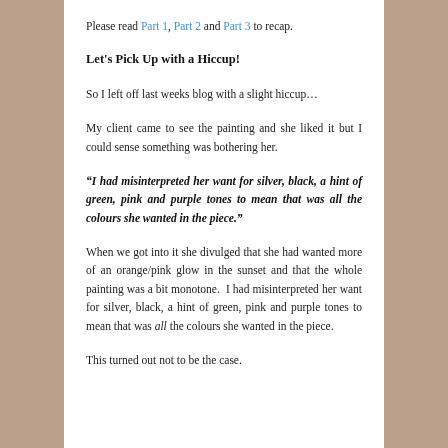Please read Part 1, Part 2 and Part 3 to recap.
Let's Pick Up with a Hiccup!
So I left off last weeks blog with a slight hiccup…
My client came to see the painting and she liked it but I could sense something was bothering her.
“I had misinterpreted her want for silver, black, a hint of green, pink and purple tones to mean that was all the colours she wanted in the piece.”
When we got into it she divulged that she had wanted more of an orange/pink glow in the sunset and that the whole painting was a bit monotone. I had misinterpreted her want for silver, black, a hint of green, pink and purple tones to mean that was all the colours she wanted in the piece.
This turned out not to be the case.